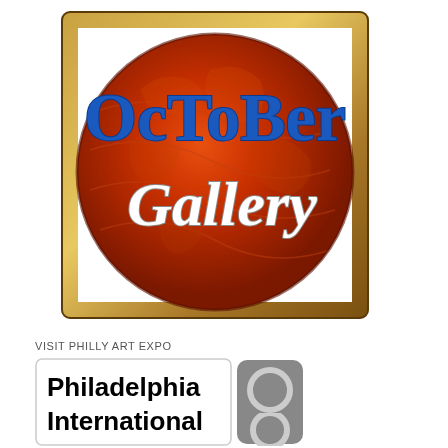[Figure (logo): October Gallery logo: a large red-orange globe on a dark framed square background, with 'OcToBer' in bold blue serif letters and 'Gallery' in white italic script over the globe]
VISIT PHILLY ART EXPO
[Figure (logo): Philadelphia International logo: black bold text 'Philadelphia International' in a white box with rounded corners, beside a grey rounded square with two overlapping circles]